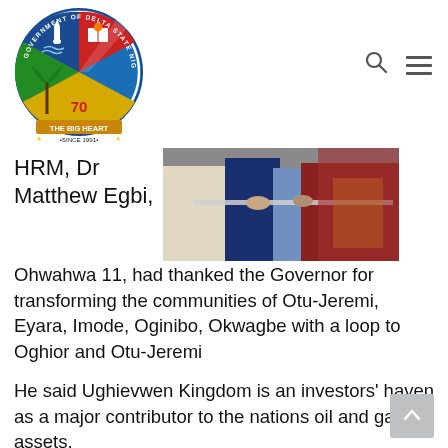[Figure (logo): Government of Delta State Nigeria official seal/coat of arms. Blue circular seal with text 'GOVERNMENT OF DELTA STATE NIGERIA', featuring a lighthouse, book, palm tree, and 'THE BIG HEART / SINCE 1991' motto.]
HRM, Dr Matthew Egbi,
[Figure (photo): Photograph of people, appears to show individuals in formal and traditional attire cutting a ribbon or rope at an event.]
Ohwahwa 11, had thanked the Governor for transforming the communities of Otu-Jeremi, Eyara, Imode, Oginibo, Okwagbe with a loop to Oghior and Otu-Jeremi
He said Ughievwen Kingdom is an investors' haven as a major contributor to the nations oil and gas assets.